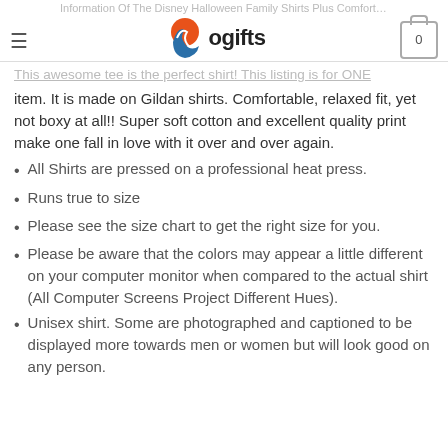Information Of The Disney Halloween Family Shirts Plus Comfort Colors | Wogifts
This awesome tee is the perfect shirt! This listing is for ONE item. It is made on Gildan shirts. Comfortable, relaxed fit, yet not boxy at all!! Super soft cotton and excellent quality print make one fall in love with it over and over again.
All Shirts are pressed on a professional heat press.
Runs true to size
Please see the size chart to get the right size for you.
Please be aware that the colors may appear a little different on your computer monitor when compared to the actual shirt (All Computer Screens Project Different Hues).
Unisex shirt. Some are photographed and captioned to be displayed more towards men or women but will look good on any person.